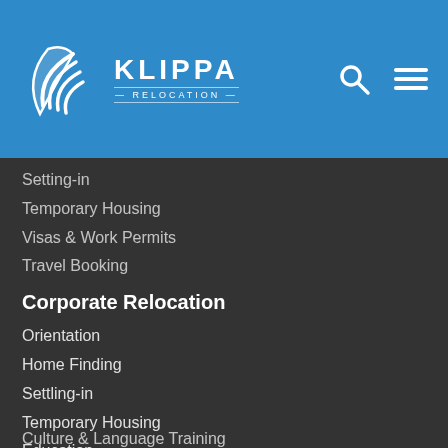[Figure (logo): Klippa Relocation logo — white stylized feather/wing icon on blue background with KLIPPA text and RELOCATION subtitle]
Setting-in
Temporary Housing
Visas & Work Permits
Travel Booking
Corporate Relocation
Orientation
Home Finding
Settling-in
Temporary Housing
Education
Destination Services
Departure Services
Move Management
Moving Pets
Expense Management
Culture & Language Training